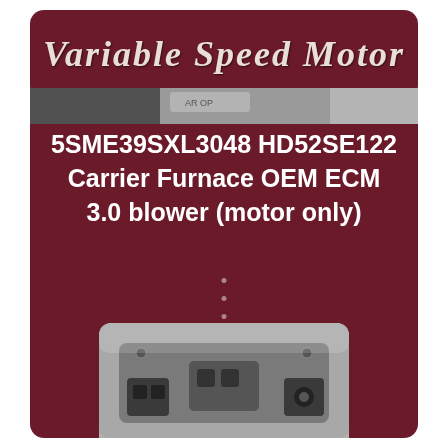Variable Speed Motor
[Figure (photo): Partial photo of a motor visible behind/above the main card banner]
5SME39SXL3048 HD52SE122 Carrier Furnace OEM ECM 3.0 blower (motor only)
[Figure (photo): Close-up photo of an ECM blower motor component showing connectors and housing]